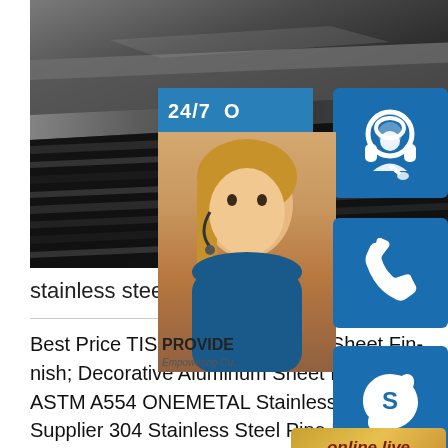[Figure (photo): Close-up photo of stainless steel sheet surface, dark metallic texture with horizontal ridges]
[Figure (infographic): Customer service sidebar with 24/7 banner, headset icon, phone icon, Skype icon, customer service representative photo, PROVIDE Empowering Customers text, and orange 'online live' button]
stainless steel sheet supply in China
Best Price TISCO Stainless Steel Sheet finish; Decorative Aluminum Sheet Metal rice; ASTM A554 ONEMETAL Stainless Steel Supplier 304 Stainless Steel Pipe Price; Factory Direct Coil Ss316L Stainless Steel Price Per Kg;sp.infoCheapest Price Sus 201 Stainless Steel Strip High Quality No matter new customer or outdated client,We believe in extensive phrase a